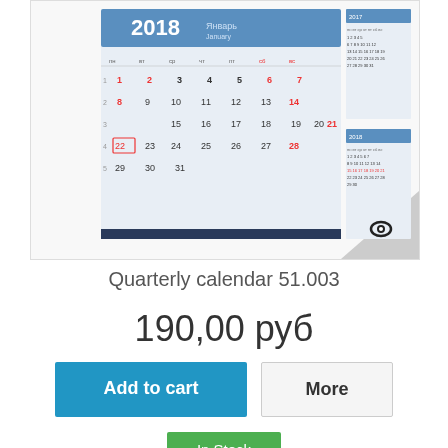[Figure (photo): Product image of a quarterly wall calendar for 2018 with January highlighted, shown on a white background with a grey corner fold and an eye icon]
Quarterly calendar 51.003
190,00 руб
Add to cart
More
In Stock
+ Add to Compare